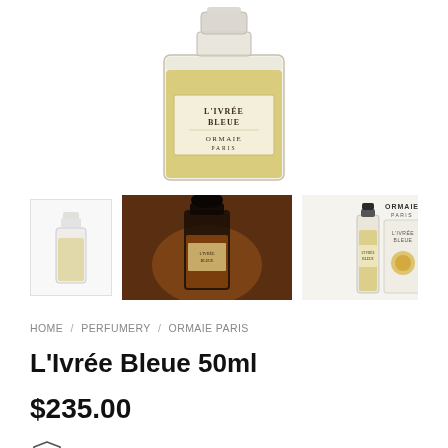[Figure (photo): Close-up of a glass perfume bottle with yellow/amber liquid, label reading L'IVRÉE BLEUE ORMAIE PARIS, white label with gold text]
[Figure (photo): Three thumbnail product images: small white perfume bottle on left, dark atmospheric photo of perfume bottle in center, light product shot with two bottles and box on right]
HOME / PERFUMERY / ORMAIE PARIS
L'Ivrée Bleue 50ml
$235.00
Authorised Australian Retailer